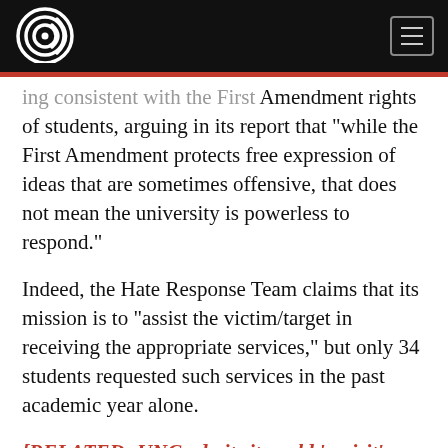[Figure (logo): Circular logo with stylized C and signal waves, white on black background]
ing consistent with the First Amendment rights of students, arguing in its report that “while the First Amendment protects free expression of ideas that are sometimes offensive, that does not mean the university is powerless to respond.”
Indeed, the Hate Response Team claims that its mission is to “assist the victim/target in receiving the appropriate services,” but only 34 students requested such services in the past academic year alone.
[RELATED: UNC admits it could ‘revisit’ Bias Response Team after facing national